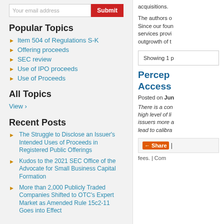Your email address [Submit]
Popular Topics
Item 504 of Regulations S-K
Offering proceeds
SEC review
Use of IPO proceeds
Use of Proceeds
All Topics
View ›
Recent Posts
The Struggle to Disclose an Issuer's Intended Uses of Proceeds in Registered Public Offerings
Kudos to the 2021 SEC Office of the Advocate for Small Business Capital Formation
More than 2,000 Publicly Traded Companies Shifted to OTC's Expert Market as Amended Rule 15c2-11 Goes into Effect
acquisitions.
The authors o Since our foun services provi outgrowth of t
Showing 1 p
Percep Access
Posted on Jun
There is a con high level of li issuers more a lead to calibra
Share | fees. | Com